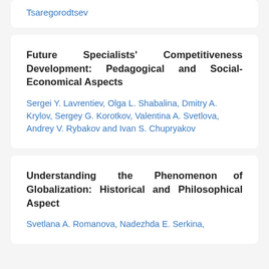Tsaregorodtsev
Future Specialists' Competitiveness Development: Pedagogical and Social-Economical Aspects
Sergei Y. Lavrentiev, Olga L. Shabalina, Dmitry A. Krylov, Sergey G. Korotkov, Valentina A. Svetlova, Andrey V. Rybakov and Ivan S. Chupryakov
Understanding the Phenomenon of Globalization: Historical and Philosophical Aspect
Svetlana A. Romanova, Nadezhda E. Serkina,